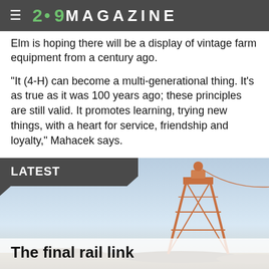2•9 MAGAZINE
Elm is hoping there will be a display of vintage farm equipment from a century ago.
"It (4-H) can become a multi-generational thing. It's as true as it was 100 years ago; these principles are still valid. It promotes learning, trying new things, with a heart for service, friendship and loyalty," Mahacek says.
– Doane Yawger of Merced is a semi-retired newspaper reporter and editor.
LATEST
[Figure (photo): Two tall lattice towers (rail infrastructure) against a pale blue sky, with rocky terrain at the bottom.]
The final rail link